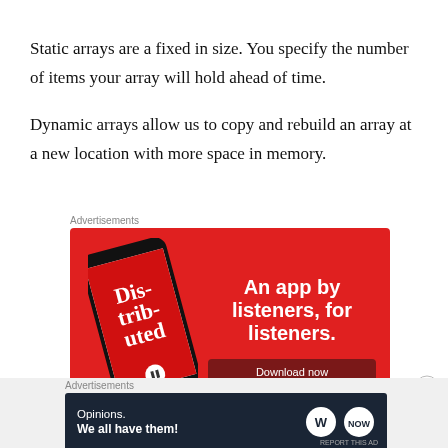Static arrays are a fixed in size. You specify the number of items your array will hold ahead of time.
Dynamic arrays allow us to copy and rebuild an array at a new location with more space in memory.
Advertisements
[Figure (illustration): Red advertisement banner for a podcast app called 'Distributed' showing a smartphone with the app open and text 'An app by listeners, for listeners.' with a 'Download now' button.]
Advertisements
[Figure (illustration): Dark navy advertisement banner reading 'Opinions. We all have them!' with WordPress logo and another circular logo on the right.]